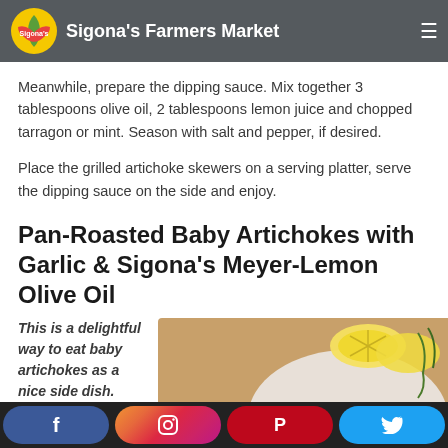Sigona's Farmers Market
Meanwhile, prepare the dipping sauce. Mix together 3 tablespoons olive oil, 2 tablespoons lemon juice and chopped tarragon or mint. Season with salt and pepper, if desired.
Place the grilled artichoke skewers on a serving platter, serve the dipping sauce on the side and enjoy.
Pan-Roasted Baby Artichokes with Garlic & Sigona's Meyer-Lemon Olive Oil
This is a delightful way to eat baby artichokes as a nice side dish. Adapted from
[Figure (photo): Plate of pan-roasted baby artichokes with lemon slices and rosemary garnish on a white plate]
f  [Instagram]  [Pinterest]  [Twitter]